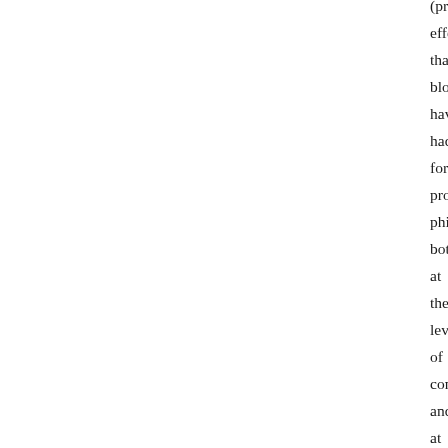(pre effe that blo have had for pro phi both at the leve of con and at the leve of 'iss in the